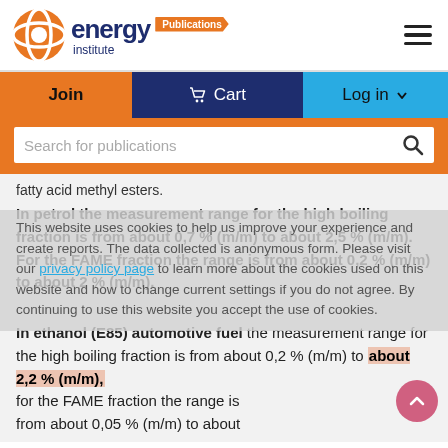energy institute Publications
Join  Cart  Log in
Search for publications
fatty acid methyl esters.
In petrol the measurement range for the high boiling fraction is from about 0,7 % (m/m) to about 2,5 % (m/m). For the FAME fraction the range is from about 0,2 % (m/m) to about 2 % (m/m).
This website uses cookies to help us improve your experience and create reports. The data collected is anonymous form. Please visit our privacy policy page to learn more about the cookies used on this website and how to change current settings if you do not agree. By continuing to use this website you accept the use of cookies.
In ethanol (E85) automotive fuel the measurement range for the high boiling fraction is from about 0,2 % (m/m) to about 2,2 % (m/m), for the FAME fraction the range is from about 0,05 % (m/m) to about